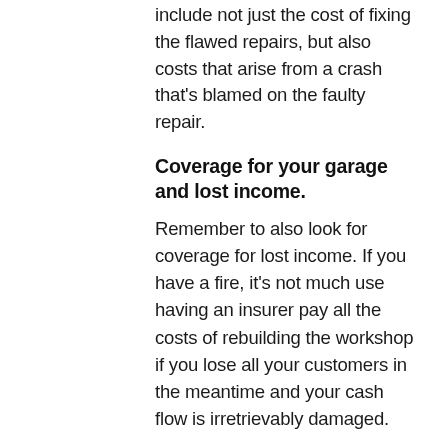include not just the cost of fixing the flawed repairs, but also costs that arise from a crash that's blamed on the faulty repair.
Coverage for your garage and lost income.
Remember to also look for coverage for lost income. If you have a fire, it's not much use having an insurer pay all the costs of rebuilding the workshop if you lose all your customers in the meantime and your cash flow is irretrievably damaged.
To protect your garage repair shop, contact us today.